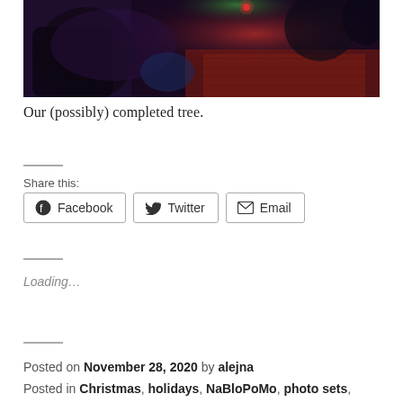[Figure (photo): A dark photo showing items under a Christmas tree with colorful red and green lights illuminating objects on a patterned surface.]
Our (possibly) completed tree.
Share this:
Facebook  Twitter  Email
Loading…
Posted on November 28, 2020 by alejna
Posted in Christmas, holidays, NaBloPoMo, photo sets,